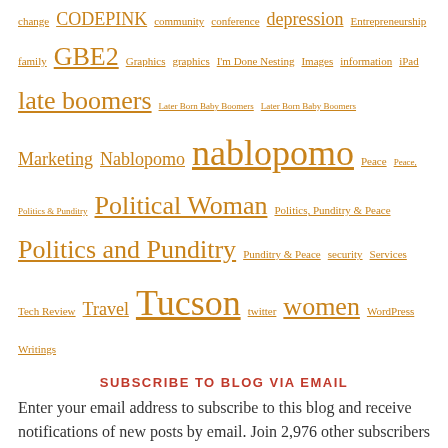change CODEPINK community conference depression Entrepreneurship family GBE2 Graphics graphics I'm Done Nesting Images information iPad late boomers Later Born Baby Boomers Later Born Baby Boomers Marketing Nablopomo nablopomo Peace Peace, Politics & Punditry Political Woman Politics, Punditry & Peace Politics and Punditry Punditry & Peace security Services Tech Review Travel Tucson twitter women WordPress Writings
SUBSCRIBE TO BLOG VIA EMAIL
Enter your email address to subscribe to this blog and receive notifications of new posts by email. Join 2,976 other subscribers
Email Address
SUBSCRIBE